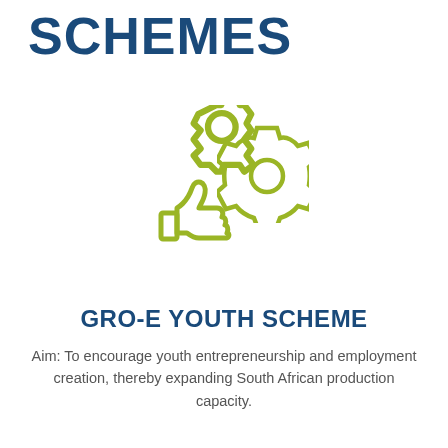SCHEMES
[Figure (illustration): Icon of a thumbs-up with a gear/cog wheel, rendered in olive/yellow-green outline style]
GRO-E YOUTH SCHEME
Aim: To encourage youth entrepreneurship and employment creation, thereby expanding South African production capacity.
Read More >
[Figure (other): Pagination dots: 10 dots with the first one active (dark), rest gray]
[Figure (other): Circular scroll-to-top button with upward arrow]
RESEARCH REPORTS